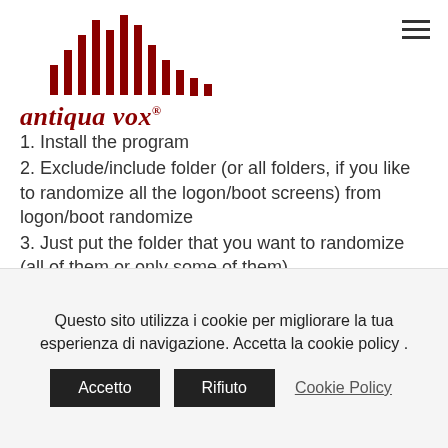[Figure (logo): Antiqua Vox logo with red sound wave bars and italic red serif text reading 'antiqua vox ®']
1. Install the program
2. Exclude/include folder (or all folders, if you like to randomize all the logon/boot screens) from logon/boot randomize
3. Just put the folder that you want to randomize (all of them or only some of them)
4. Select a folder as your favorites (logon/boot) and save it
5. Launch the program, which will add the next logon/boot screen in your favorites or “do not
Questo sito utilizza i cookie per migliorare la tua esperienza di navigazione. Accetta la cookie policy .
Accetto   Rifiuto   Cookie Policy